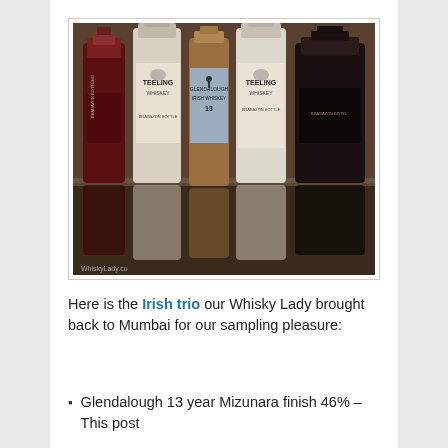[Figure (photo): Photo of multiple Irish whisky bottles including Teeling Whiskey Brabazon Bottling and Glendalough Irish Whiskey bottles reflected on a surface. Watermark: WhiskyLady.co]
Here is the Irish trio our Whisky Lady brought back to Mumbai for our sampling pleasure:
Glendalough 13 year Mizunara finish 46% – This post